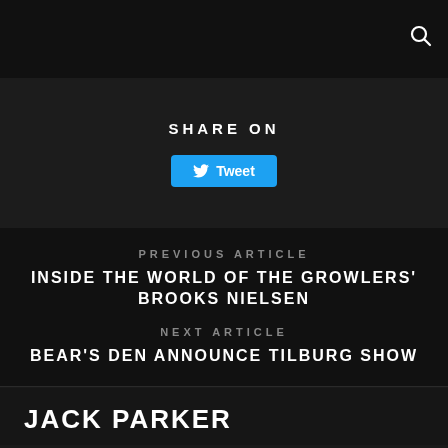SHARE ON
[Figure (other): Tweet button with Twitter bird icon]
PREVIOUS ARTICLE
INSIDE THE WORLD OF THE GROWLERS' BROOKS NIELSEN
NEXT ARTICLE
BEAR'S DEN ANNOUNCE TILBURG SHOW
JACK PARKER